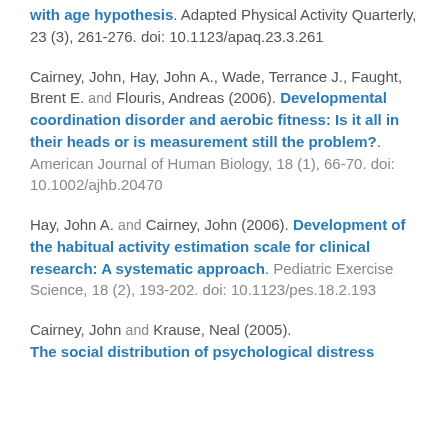with age hypothesis. Adapted Physical Activity Quarterly, 23 (3), 261-276. doi: 10.1123/apaq.23.3.261
Cairney, John, Hay, John A., Wade, Terrance J., Faught, Brent E. and Flouris, Andreas (2006). Developmental coordination disorder and aerobic fitness: Is it all in their heads or is measurement still the problem?. American Journal of Human Biology, 18 (1), 66-70. doi: 10.1002/ajhb.20470
Hay, John A. and Cairney, John (2006). Development of the habitual activity estimation scale for clinical research: A systematic approach. Pediatric Exercise Science, 18 (2), 193-202. doi: 10.1123/pes.18.2.193
Cairney, John and Krause, Neal (2005). The social distribution of psychological distress